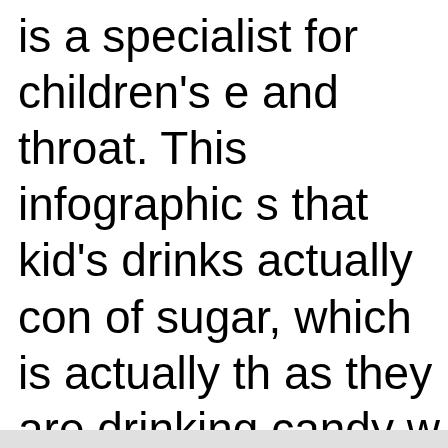is a specialist for children's e and throat. This infographic s that kid's drinks actually con of sugar, which is actually th as they are drinking candy w straw!